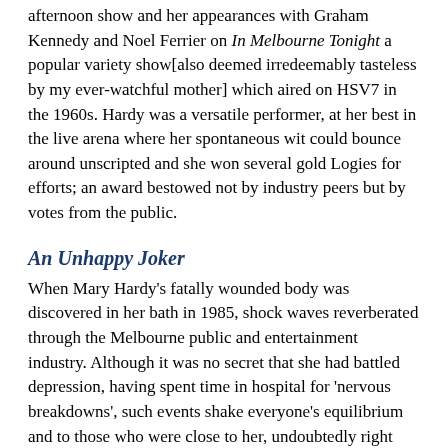afternoon show and her appearances with Graham Kennedy and Noel Ferrier on In Melbourne Tonight a popular variety show[also deemed irredeemably tasteless by my ever-watchful mother] which aired on HSV7 in the 1960s. Hardy was a versatile performer, at her best in the live arena where her spontaneous wit could bounce around unscripted and she won several gold Logies for efforts; an award bestowed not by industry peers but by votes from the public.
An Unhappy Joker
When Mary Hardy's fatally wounded body was discovered in her bath in 1985, shock waves reverberated through the Melbourne public and entertainment industry. Although it was no secret that she had battled depression, having spent time in hospital for 'nervous breakdowns', such events shake everyone's equilibrium and to those who were close to her, undoubtedly right down to the core.
According to most accounts, age had made the uber-feisty Mary more mentally fragile and at 54 she had made the decision to bow out with a self-inflicted gunshot wound, perhaps due to a cumulation of factors - loneliness, insomnia, the diminishment of